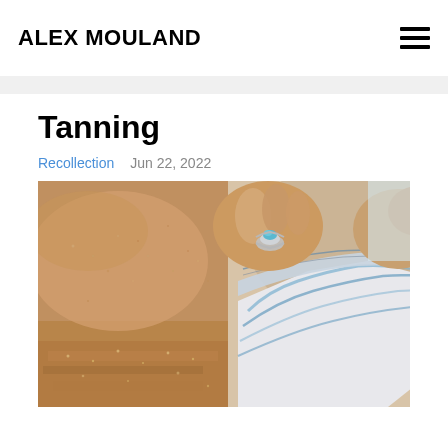ALEX MOULAND
Tanning
Recollection   Jun 22, 2022
[Figure (photo): Close-up photo of a tanned woman lying on sandy beach, wearing a blue and white patterned bikini bottom, with a silver ring with turquoise stone on her finger, resting her hand on the bikini fabric.]